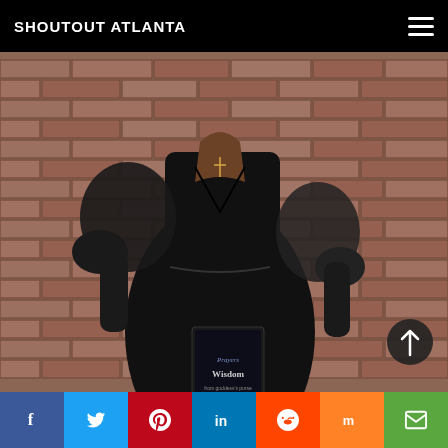SHOUTOUT ATLANTA
[Figure (photo): A woman in a black dress with sheer puff sleeves standing against a brick wall, holding a book titled 'Prayers and Wisdom' with praying hands on the cover. She wears a gold cross necklace.]
[Figure (other): Social sharing bar with icons for Facebook, Twitter, Pinterest, LinkedIn, Reddit, Mix, and Email]